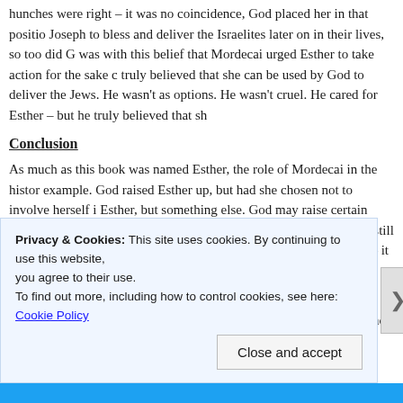hunches were right – it was no coincidence, God placed her in that position. Joseph to bless and deliver the Israelites later on in their lives, so too did G was with this belief that Mordecai urged Esther to take action for the sake of truly believed that she can be used by God to deliver the Jews. He wasn't as options. He wasn't cruel. He cared for Esther – but he truly believed that sh
Conclusion
As much as this book was named Esther, the role of Mordecai in the histor example. God raised Esther up, but had she chosen not to involve herself i Esther, but something else. God may raise certain people up, but even if th people up to do it, and the prophecies will still be fulfilled. I do not wish to that possessed great courage and faith – it says a lot to be one of the only t
But just for today, let us focus on the role that Mordecai played, and learn t character; but if Esther did not have Mordecai, if Moses did not have Joshu
Privacy & Cookies: This site uses cookies. By continuing to use this website, you agree to their use.
To find out more, including how to control cookies, see here: Cookie Policy
Close and accept